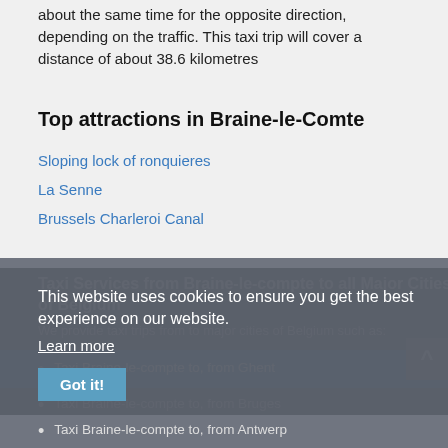about the same time for the opposite direction, depending on the traffic. This taxi trip will cover a distance of about 38.6 kilometres
Top attractions in Braine-le-Comte
Sloping lock of ronquieres
La Senne
Brussels Charleroi Canal
Taxi Services from Braine-le-compte to all Major Cities of Belgium
We provide taxi trips from to major cities of Belgium such as:
Taxi Braine-le-compte to, from Ghent
Taxi Braine-le-compte to, from Bruges
Taxi Braine-le-compte to, from Antwerp
This website uses cookies to ensure you get the best experience on our website.
Learn more
Got it!